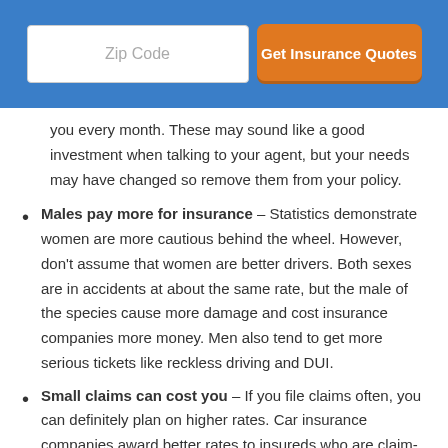[Figure (screenshot): Blue header bar with a white Zip Code input field and an orange 'Get Insurance Quotes' button]
you every month. These may sound like a good investment when talking to your agent, but your needs may have changed so remove them from your policy.
Males pay more for insurance – Statistics demonstrate women are more cautious behind the wheel. However, don't assume that women are better drivers. Both sexes are in accidents at about the same rate, but the male of the species cause more damage and cost insurance companies more money. Men also tend to get more serious tickets like reckless driving and DUI.
Small claims can cost you – If you file claims often, you can definitely plan on higher rates. Car insurance companies award better rates to insureds who are claim-